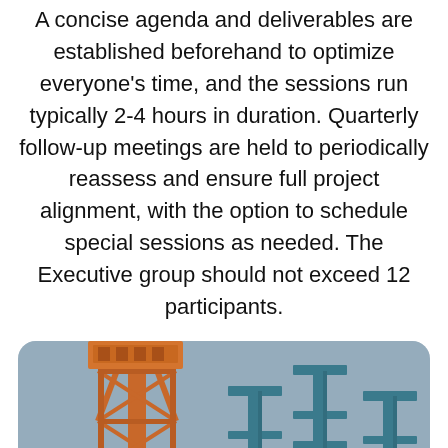A concise agenda and deliverables are established beforehand to optimize everyone's time, and the sessions run typically 2-4 hours in duration. Quarterly follow-up meetings are held to periodically reassess and ensure full project alignment, with the option to schedule special sessions as needed. The Executive group should not exceed 12 participants.
[Figure (photo): Photograph of construction site showing an orange steel lattice crane tower on the left and several teal/turquoise vertical steel columns with cross-beam connectors on the right, against a grey-blue sky background.]